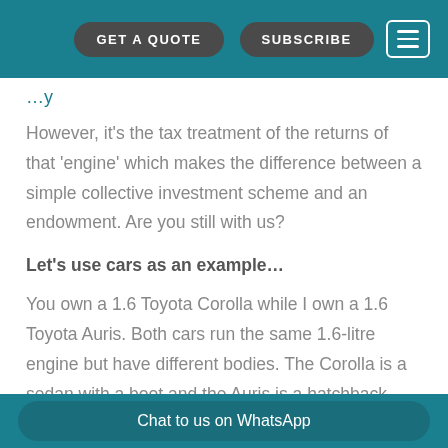GET A QUOTE   SUBSCRIBE
However, it's the tax treatment of the returns of that 'engine' which makes the difference between a simple collective investment scheme and an endowment. Are you still with us?
Let's use cars as an example…
You own a 1.6 Toyota Corolla while I own a 1.6 Toyota Auris. Both cars run the same 1.6-litre engine but have different bodies. The Corolla is a sedan with a boot and the Auris is a hatchback with almost no boot.
Chat to us on WhatsApp